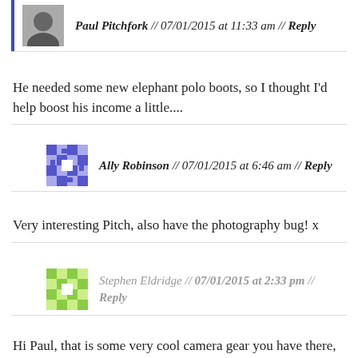Paul Pitchfork // 07/01/2015 at 11:33 am // Reply
He needed some new elephant polo boots, so I thought I'd help boost his income a little....
Ally Robinson // 07/01/2015 at 6:46 am // Reply
Very interesting Pitch, also have the photography bug! x
Stephen Eldridge // 07/01/2015 at 2:33 pm // Reply
Hi Paul, that is some very cool camera gear you have there, I'm looking forward to the results.....no pressure!! I did a couple of the video workshops at one of Austin + Lois's fab film festivals, so interesting